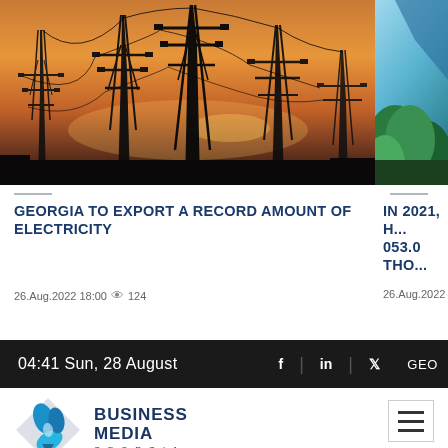[Figure (photo): Power transmission towers/pylons against a dramatic orange and pink sunset sky, viewed from below]
[Figure (photo): Partially visible image on the right side showing blue sky and green foliage/trees]
GEORGIA TO EXPORT A RECORD AMOUNT OF ELECTRICITY
IN 2021, H... 053.0 THO...
26.Aug.2022 18:00 👁 124
26.Aug.2022
04:41 Sun, 28 August   f  |  in  |  𝕏  GEO
[Figure (logo): Business Media Georgia logo with blue swirl emblem and text BUSINESS MEDIA GEORGIA]